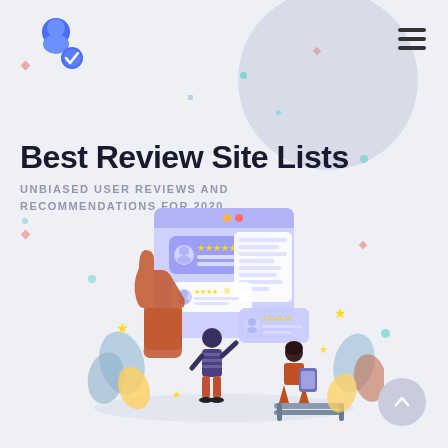[Figure (logo): Blue user/person icon with a checkmark badge, top left]
[Figure (illustration): Hamburger menu icon (three horizontal bars), top right]
Best Review Site Lists
UNBIASED USER REVIEWS AND RECOMMENDATIONS FOR 2020
[Figure (illustration): Flat vector illustration showing two people interacting with review/rating UI elements, speech bubbles with star ratings, thumbs up, plants and bench in the background]